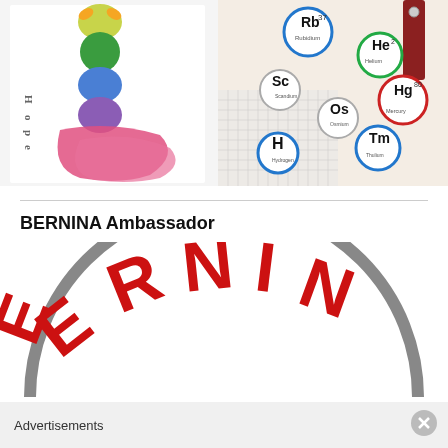[Figure (photo): Child's colorful painting/drawing with rainbow stack of creatures and pink paint strokes, with metal letter decorations spelling 'Hope' on the left side]
[Figure (photo): Periodic table element buttons/pins (Rb, He, Sc, Os, Hg, H, Tm) scattered on a white fabric surface with a red leather strap visible at top right, and grid paper below]
BERNINA Ambassador
[Figure (logo): BERNINA logo shown as a large arc/semicircle in gray with red bold text 'ERNIN' visible (partial - B and A cut off), in the style of the BERNINA sewing machine brand logo]
Advertisements